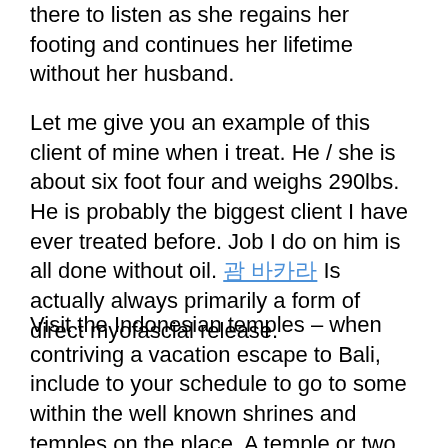there to listen as she regains her footing and continues her lifetime without her husband.
Let me give you an example of this client of mine when i treat. He / she is about six foot four and weighs 290lbs. He is probably the biggest client I have ever treated before. Job I do on him is all done without oil. [link text] Is actually always primarily a form of direct myofascial release.
Visit the Indonesian temples – when contriving a vacation escape to Bali, include to your schedule to go to some within the well known shrines and temples on the place. A temple or two would complete all of your Bali trek.